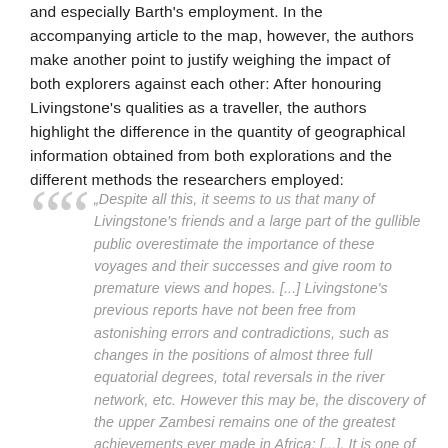and especially Barth's employment. In the accompanying article to the map, however, the authors make another point to justify weighing the impact of both explorers against each other: After honouring Livingstone's qualities as a traveller, the authors highlight the difference in the quantity of geographical information obtained from both explorations and the different methods the researchers employed:
„Despite all this, it seems to us that many of Livingstone's friends and a large part of the gullible public overestimate the importance of these voyages and their successes and give room to premature views and hopes. [...] Livingstone's previous reports have not been free from astonishing errors and contradictions, such as changes in the positions of almost three full equatorial degrees, total reversals in the river network, etc. However this may be, the discovery of the upper Zambesi remains one of the greatest achievements ever made in Africa; [...]. It is one of the most outstanding results of Dr. Barth's researches and discoveries that he, linking a large and extensive network of